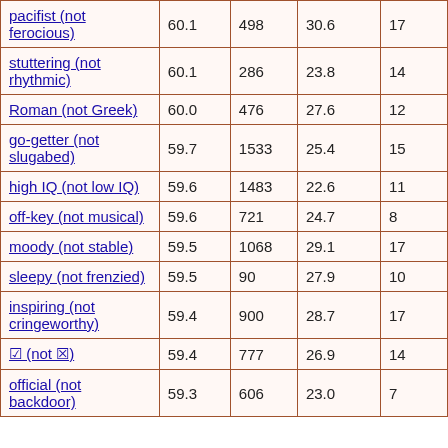| pacifist (not ferocious) | 60.1 | 498 | 30.6 | 17 |
| stuttering (not rhythmic) | 60.1 | 286 | 23.8 | 14 |
| Roman (not Greek) | 60.0 | 476 | 27.6 | 12 |
| go-getter (not slugabed) | 59.7 | 1533 | 25.4 | 15 |
| high IQ (not low IQ) | 59.6 | 1483 | 22.6 | 11 |
| off-key (not musical) | 59.6 | 721 | 24.7 | 8 |
| moody (not stable) | 59.5 | 1068 | 29.1 | 17 |
| sleepy (not frenzied) | 59.5 | 90 | 27.9 | 10 |
| inspiring (not cringeworthy) | 59.4 | 900 | 28.7 | 17 |
| ☑ (not ☒) | 59.4 | 777 | 26.9 | 14 |
| official (not backdoor) | 59.3 | 606 | 23.0 | 7 |